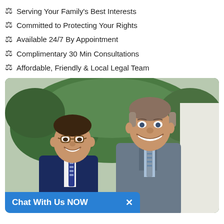⚖ Serving Your Family's Best Interests
⚖ Committed to Protecting Your Rights
⚖ Available 24/7 By Appointment
⚖ Complimentary 30 Min Consultations
⚖ Affordable, Friendly & Local Legal Team
[Figure (photo): Two male attorneys in suits smiling outdoors in front of greenery/ferns]
Chat With Us NOW ×